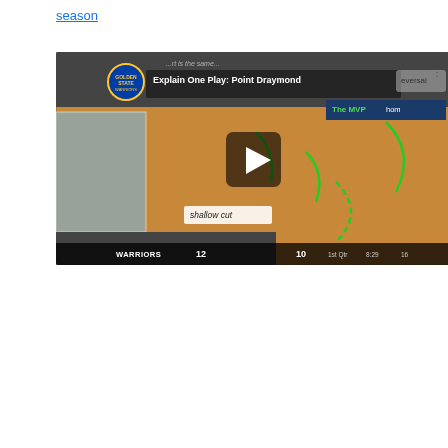season
[Figure (screenshot): Video thumbnail of 'Explain One Play: Point Draymond' basketball analysis video showing a Warriors vs Memphis game with play diagram arrows and 'shallow cut' annotation. Score shows WARRIORS 12, 10, 1st Qtr, 8:29, 16.]
|  | LAL | GSW |
| --- | --- | --- |
| 10/19, 2:00a | LAL | GSW |
| SPREAD | +5.5 (-105) | -5.5 (-115) |